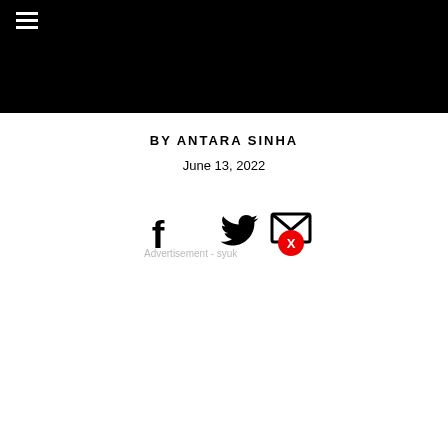[Figure (other): Black header banner at top of page with hamburger menu icon in top-left corner]
BY ANTARA SINHA
June 13, 2022
[Figure (other): Social media sharing icons: Facebook, Twitter, and Email. An advertisement overlay with red X close button and text 'Advertisement - syuk']